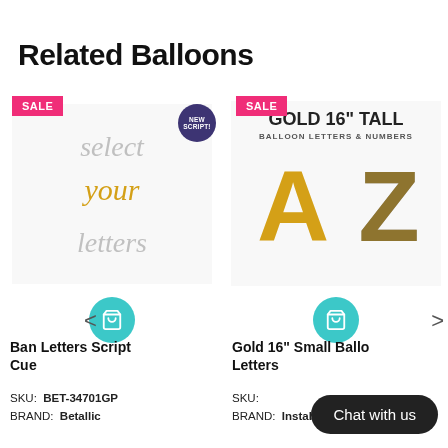Related Balloons
[Figure (photo): Left product card: Script balloon letters product with SALE badge and NEW SCRIPT badge. Shows cursive text 'select your letters' in silver and gold. Has teal cart button.]
[Figure (photo): Right product card: Gold 16 inch tall balloon letters A-Z product with SALE badge. Shows gold letter balloons A and Z. Has teal cart button.]
Balloon Letters Script Cu...
Gold 16" Small Ballo Letters...
SKU: BET-34701GP
BRAND: Betallic
SKU: 
BRAND: Instaballoons
Chat with us